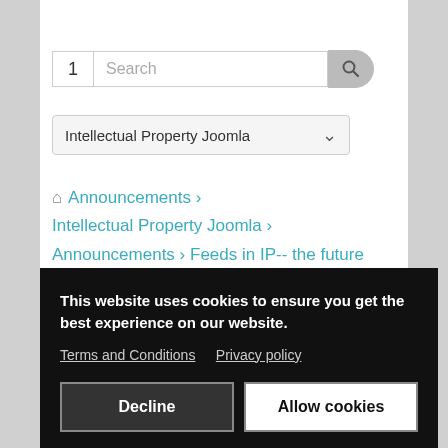[Figure (screenshot): Search bar with number input '1', text field showing 'Search', and a rounded search button with magnifying glass icon]
[Figure (screenshot): Dropdown menu showing 'Intellectual Property Joomla' with a chevron/caret icon on the right]
🏠 Announcements > Intellectual Property Joomla > Announcements > Feeds in IP-- the future
[Figure (other): RSS feed icon in teal/cyan color]
Time to create page: 0.211 seconds
This website uses cookies to ensure you get the best experience on our website. Terms and Conditions  Privacy policy
Decline   Allow cookies
About iProperty